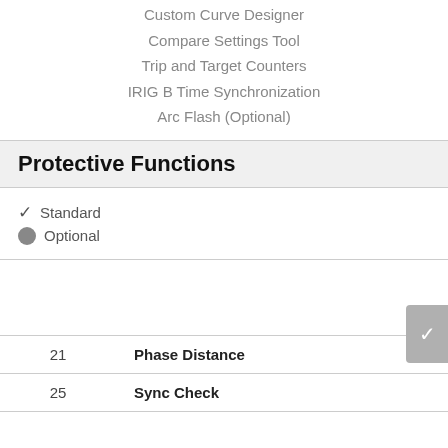Custom Curve Designer
Compare Settings Tool
Trip and Target Counters
IRIG B Time Synchronization
Arc Flash (Optional)
Protective Functions
✓ Standard
● Optional
| Number | Function |
| --- | --- |
|  |  |
| 21 | Phase Distance |
| 25 | Sync Check |